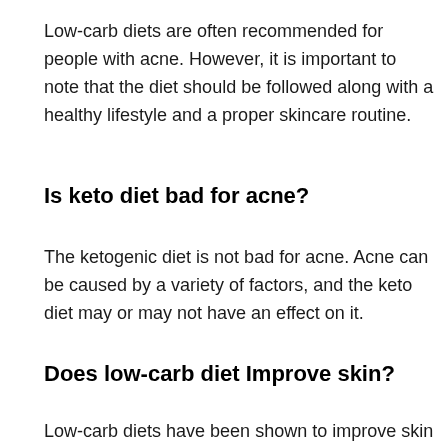Low-carb diets are often recommended for people with acne. However, it is important to note that the diet should be followed along with a healthy lifestyle and a proper skincare routine.
Is keto diet bad for acne?
The ketogenic diet is not bad for acne. Acne can be caused by a variety of factors, and the keto diet may or may not have an effect on it.
Does low-carb diet Improve skin?
Low-carb diets have been shown to improve skin health.